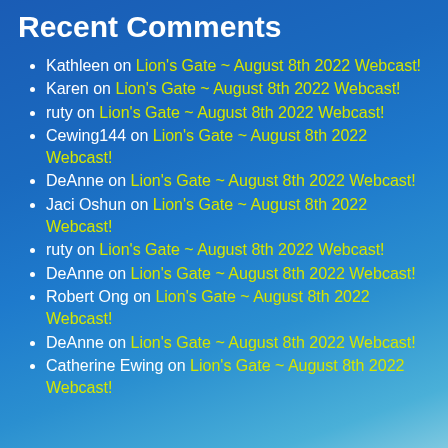Recent Comments
Kathleen on Lion's Gate ~ August 8th 2022 Webcast!
Karen on Lion's Gate ~ August 8th 2022 Webcast!
ruty on Lion's Gate ~ August 8th 2022 Webcast!
Cewing144 on Lion's Gate ~ August 8th 2022 Webcast!
DeAnne on Lion's Gate ~ August 8th 2022 Webcast!
Jaci Oshun on Lion's Gate ~ August 8th 2022 Webcast!
ruty on Lion's Gate ~ August 8th 2022 Webcast!
DeAnne on Lion's Gate ~ August 8th 2022 Webcast!
Robert Ong on Lion's Gate ~ August 8th 2022 Webcast!
DeAnne on Lion's Gate ~ August 8th 2022 Webcast!
Catherine Ewing on Lion's Gate ~ August 8th 2022 Webcast!